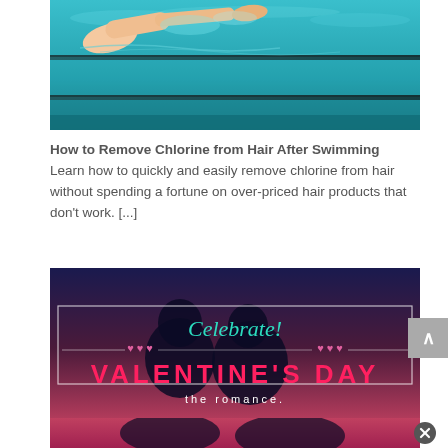[Figure (photo): Underwater photo of a swimmer's arm reaching forward in a pool with blue water and lane lines visible]
How to Remove Chlorine from Hair After Swimming
Learn how to quickly and easily remove chlorine from hair without spending a fortune on over-priced hair products that don't work. [...]
[Figure (photo): Valentine's Day promotional image with silhouettes of a couple, text 'Celebrate!' in teal cursive, 'VALENTINE'S DAY' in bold pink letters, and 'the romance.' in smaller text, dark blue/purple sunset background with heart decorations]